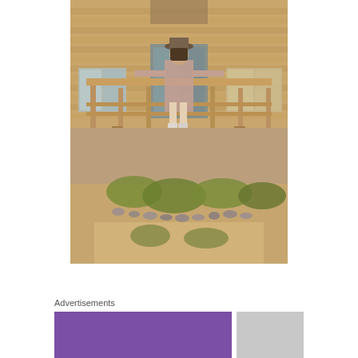[Figure (photo): A person wearing a hat and sunglasses stands on a wooden deck/balcony of a rustic wooden cabin or lodge, arms spread wide. Below the elevated deck are wooden support posts, a hillside with shrubs, rocks, and dirt. The photo has a warm, vintage tone.]
Advertisements
[Figure (other): Advertisement banner — purple rectangle on the left and gray rectangle on the right.]